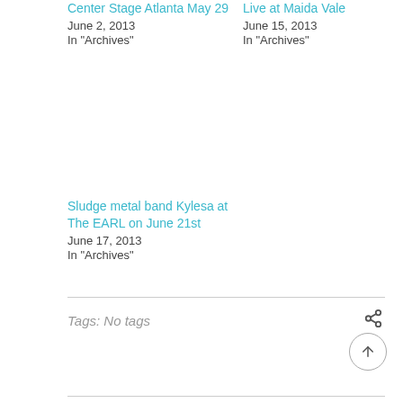Center Stage Atlanta May 29
June 2, 2013
In "Archives"
Live at Maida Vale
June 15, 2013
In "Archives"
Sludge metal band Kylesa at The EARL on June 21st
June 17, 2013
In "Archives"
Tags: No tags